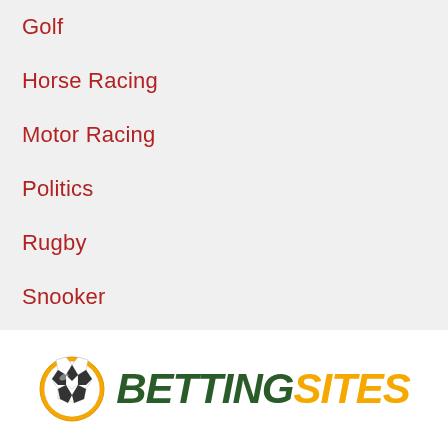Golf
Horse Racing
Motor Racing
Politics
Rugby
Snooker
Tennis
[Figure (logo): BettingSites logo with a football/soccer ball icon on the left and the text BETTING in dark green italic bold and SITES in orange italic bold]